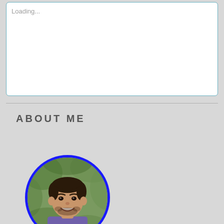Loading...
ABOUT ME
[Figure (photo): Circular profile photo of a young man with short dark hair and beard, smiling, wearing a purple shirt, with green foliage in the background. Framed with a thick blue circular border.]